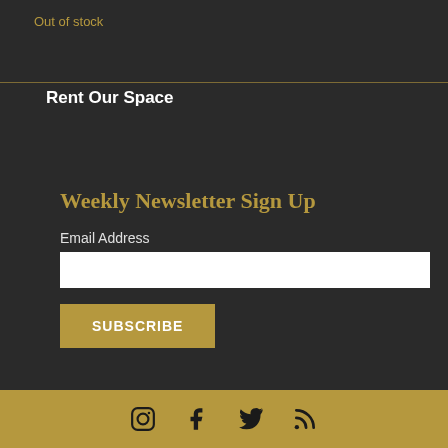Out of stock
Rent Our Space
Weekly Newsletter Sign Up
Email Address
[Figure (screenshot): Email address input field (white text box)]
SUBSCRIBE
[Figure (infographic): Footer bar with social media icons: Instagram, Facebook, Twitter, RSS feed]